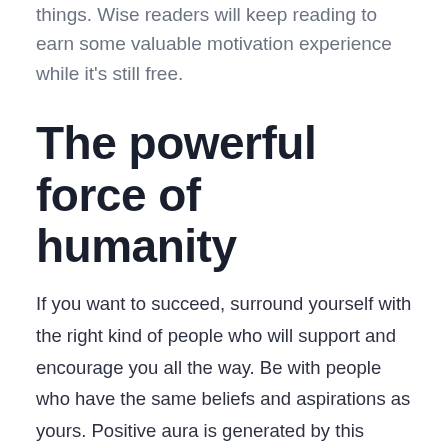things. Wise readers will keep reading to earn some valuable motivation experience while it's still free.
The powerful force of humanity
If you want to succeed, surround yourself with the right kind of people who will support and encourage you all the way. Be with people who have the same beliefs and aspirations as yours. Positive aura is generated by this fusion of collective energy from people of “like minds.” On the contrary, being with people who oppose your ways of thinking may trigger a negative, yet very